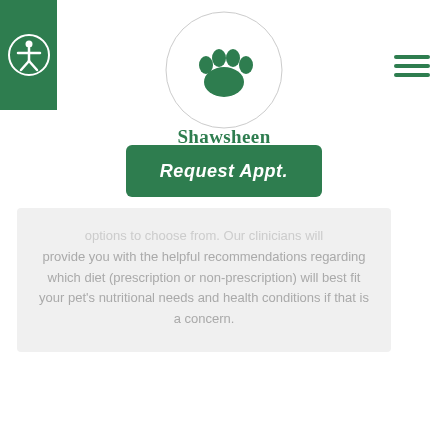[Figure (logo): Shawsheen Animal Hospital logo: green circle with paw print, text 'Shawsheen ANIMAL HOSPITAL']
[Figure (other): Green square accessibility icon button with wheelchair figure in circle]
[Figure (other): Green hamburger menu icon (three horizontal lines)]
[Figure (other): Dark green 'Request Appt.' button]
provide you with the helpful recommendations regarding which diet (prescription or non-prescription) will best fit your pet's nutritional needs and health conditions if that is a concern.